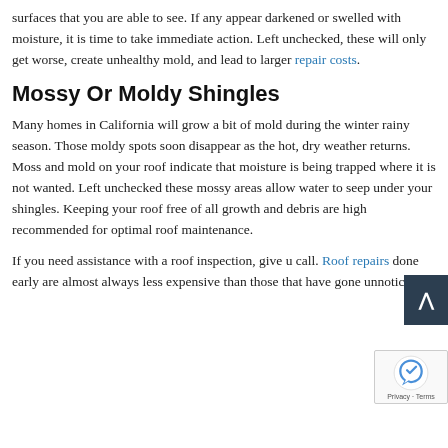surfaces that you are able to see. If any appear darkened or swelled with moisture, it is time to take immediate action. Left unchecked, these will only get worse, create unhealthy mold, and lead to larger repair costs.
Mossy Or Moldy Shingles
Many homes in California will grow a bit of mold during the winter rainy season. Those moldy spots soon disappear as the hot, dry weather returns. Moss and mold on your roof indicate that moisture is being trapped where it is not wanted. Left unchecked these mossy areas allow water to seep under your shingles. Keeping your roof free of all growth and debris are high recommended for optimal roof maintenance.
If you need assistance with a roof inspection, give us a call. Roof repairs done early are almost always less expensive than those that have gone unnoticed or...